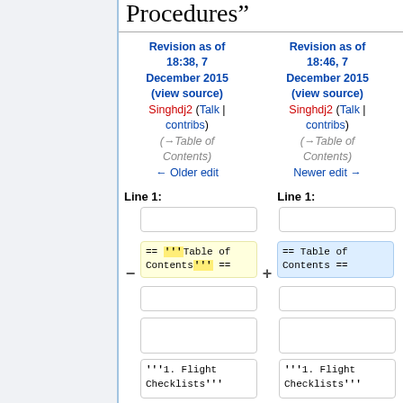Procedures”
Revision as of 18:38, 7 December 2015 (view source)
Singhdj2 (Talk | contribs)
(→Table of Contents)
← Older edit
Revision as of 18:46, 7 December 2015 (view source)
Singhdj2 (Talk | contribs)
(→Table of Contents)
Newer edit →
Line 1:
Line 1:
== '''Table of Contents''' ==
== Table of Contents ==
'''1. Flight Checklists'''
'''1. Flight Checklists'''